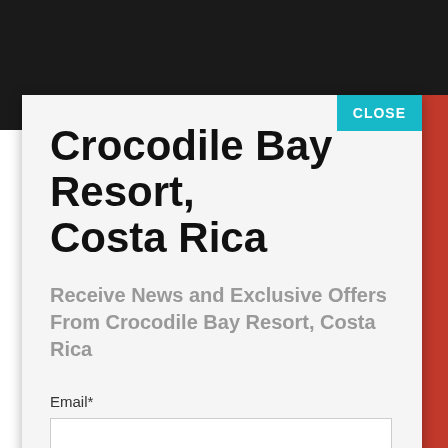CROCODILE BAY RESORT
Crocodile Bay Resort, Costa Rica
Receive News and Exclusive Offers From Crocodile Bay Resort, Costa Rica
Email*